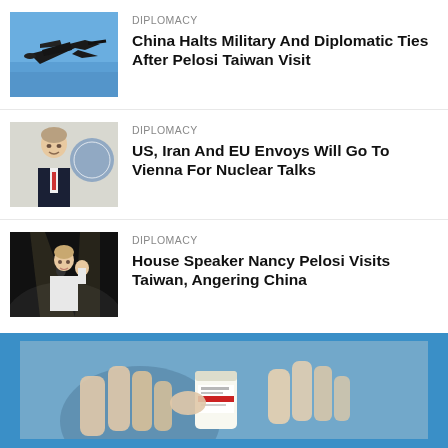[Figure (photo): Military jet aircraft flying against blue sky]
DIPLOMACY
China Halts Military And Diplomatic Ties After Pelosi Taiwan Visit
[Figure (photo): Man in suit standing in front of UN logo]
DIPLOMACY
US, Iran And EU Envoys Will Go To Vienna For Nuclear Talks
[Figure (photo): Nancy Pelosi in white outfit waving at podium]
DIPLOMACY
House Speaker Nancy Pelosi Visits Taiwan, Angering China
[Figure (photo): Close-up of hands holding a small medicine bottle or vial with a label, blurred blue background]